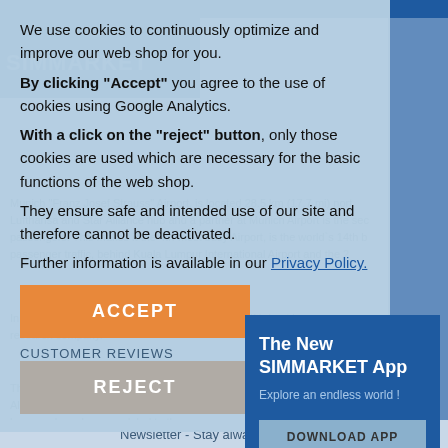[Figure (screenshot): SIMMARKET web shop background page with blue header, logo, and article text about Munich Franz Josef Strauss Airport, partially visible behind cookie consent overlay and app promo box]
We use cookies to continuously optimize and improve our web shop for you. By clicking "Accept" you agree to the use of cookies using Google Analytics. With a click on the "reject" button, only those cookies are used which are necessary for the basic functions of the web shop. They ensure safe and intended use of our site and therefore cannot be deactivated. Further information is available in our Privacy Policy.
ACCEPT
REJECT
CUSTOMER REVIEWS
The New SIMMARKET App
Explore an endless world !
DOWNLOAD APP